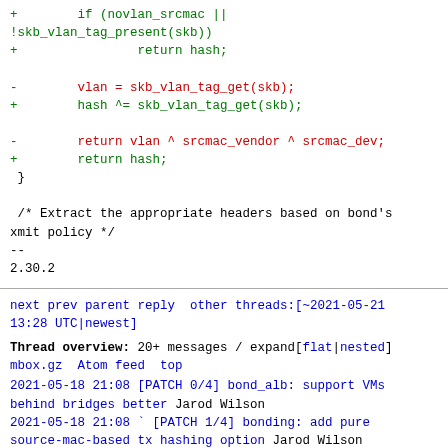Code diff showing changes: green lines (additions) and red lines (removals) for vlan/hash handling logic in C
/* Extract the appropriate headers based on bond's xmit policy */
--
2.30.2
next prev parent reply  other threads:[~2021-05-21 13:28 UTC|newest]
Thread overview: 20+ messages / expand[flat|nested]
mbox.gz  Atom feed  top
2021-05-18 21:08 [PATCH 0/4] bond_alb: support VMs behind bridges better Jarod Wilson
2021-05-18 21:08 ` [PATCH 1/4] bonding: add pure source-mac-based tx hashing option Jarod Wilson
2021-05-19  9:01   ` Nikolay Aleksandrov
2021-05-18 21:08 ` [PATCH 2/4] bond_alb: don't rewrite bridged non-local MACs Jarod Wilson